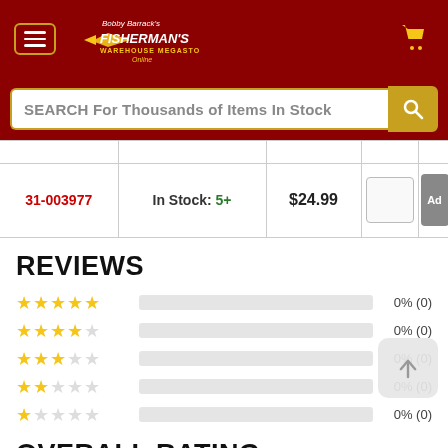Fisherman's Warehouse Megastore Online
SEARCH For Thousands of Items In Stock
| SKU | Stock | Price | Qty | Add |
| --- | --- | --- | --- | --- |
| 31-003977 | In Stock: 5+ | $24.99 |  | Ad |
REVIEWS
[Figure (bar-chart): Star ratings distribution]
OVERALL RATING
No reviews yet. Be the first!